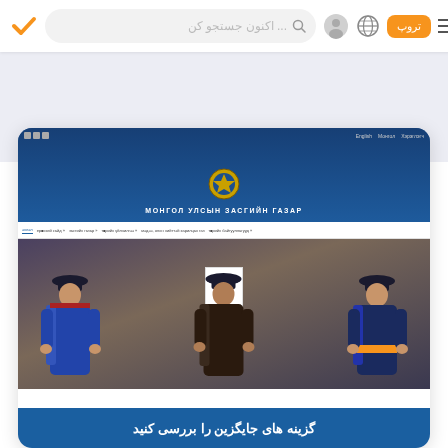[Figure (screenshot): Mobile browser interface with orange checkmark logo, search bar with Persian placeholder text 'اکنون جستجو کن', user icon, globe icon, orange login button labeled 'تروپ', and hamburger menu icon]
[Figure (screenshot): Screenshot of Mongolian Government website (МОНГОЛ УЛСЫН ЗАСГИЙН ГАЗАР) showing blue header with state emblem, navigation menu, and photo of three men in traditional Mongolian attire (deel) at a ceremony]
گزینه های جایگزین را بررسی کنید